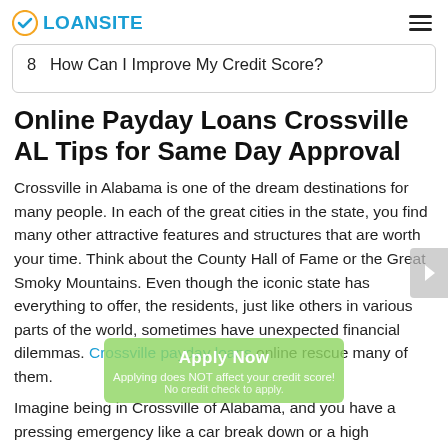LOANSITE
8  How Can I Improve My Credit Score?
Online Payday Loans Crossville AL Tips for Same Day Approval
Crossville in Alabama is one of the dream destinations for many people. In each of the great cities in the state, you find many other attractive features and structures that are worth your time. Think about the County Hall of Fame or the Great Smoky Mountains. Even though the iconic state has everything to offer, the residents, just like others in various parts of the world, sometimes have unexpected financial dilemmas. Crossville payday loans online rescue many of them.
Imagine being in Crossville of Alabama, and you have a pressing emergency like a car break down or a high